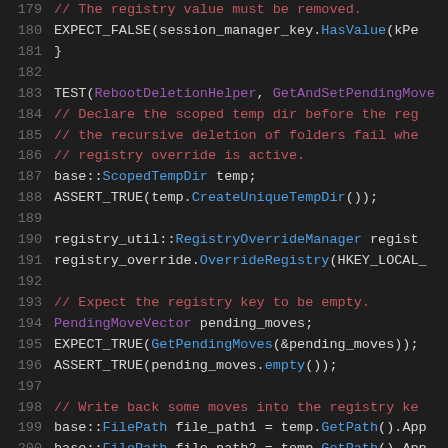[Figure (screenshot): Source code screenshot showing C++ unit test code for RebootDeletionHelper, lines 179-200, with syntax highlighting on a dark background. Line numbers in gray, comments in red, identifiers in purple/blue, plain code in white.]